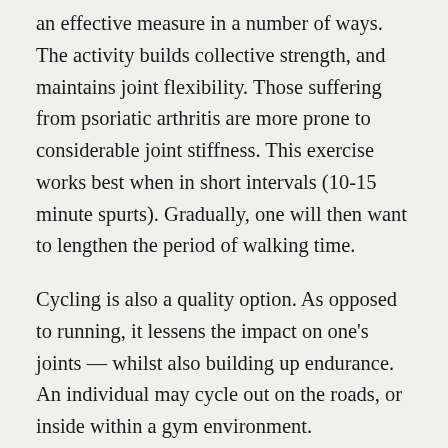an effective measure in a number of ways. The activity builds collective strength, and maintains joint flexibility. Those suffering from psoriatic arthritis are more prone to considerable joint stiffness. This exercise works best when in short intervals (10-15 minute spurts). Gradually, one will then want to lengthen the period of walking time.
Cycling is also a quality option. As opposed to running, it lessens the impact on one's joints — whilst also building up endurance. An individual may cycle out on the roads, or inside within a gym environment.
The act of swimming in a pool also has many benefits for those struggling with joint stiffness. Swimming helps to strengthen the afflicted joints.